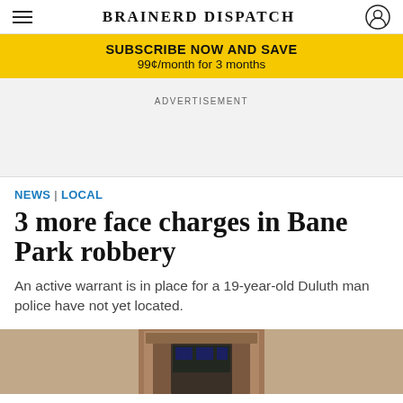BRAINERD DISPATCH
SUBSCRIBE NOW AND SAVE
99¢/month for 3 months
ADVERTISEMENT
NEWS | LOCAL
3 more face charges in Bane Park robbery
An active warrant is in place for a 19-year-old Duluth man police have not yet located.
[Figure (photo): Partial view of a building exterior, bottom portion of page]